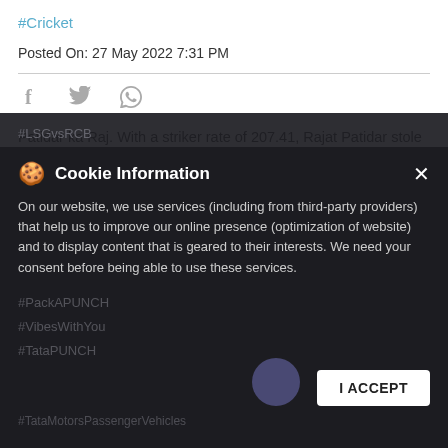#Cricket
Posted On: 27 May 2022 7:31 PM
[Figure (other): Social share icons: Facebook, Twitter, WhatsApp]
Patidar ka Raj. With a striker rate of 207.41, Rajat Patidar stole the show with his ferocious batting that lead RCB into the qualifiers to become the #PUNCHSuperStriker of the #LSGvsRCB clash. #GameThatVibes #PackAPUNCH #VibesWithYou #TataPUNCH #TataMotorsPassengerVehicles #TataIPL #TataIPL2022 #Cricket
#LSGvsRCB
#PackAPUNCH
#VibesWithYou
#TataPUNCH
#TataMotorsPassengerVehicles
Cookie Information
On our website, we use services (including from third-party providers) that help us to improve our online presence (optimization of website) and to display content that is geared to their interests. We need your consent before being able to use these services.
I ACCEPT